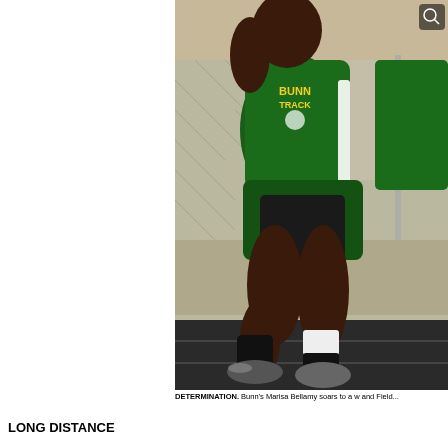[Figure (photo): A female track athlete wearing a green Bunn Track uniform running on a black track, with a chain-link fence and bleachers in the background. A magnifier icon appears in the top right corner of the image.]
DETERMINATION. Bunn's Marisa Bellamy soars to a w and Field...
LONG DISTANCE